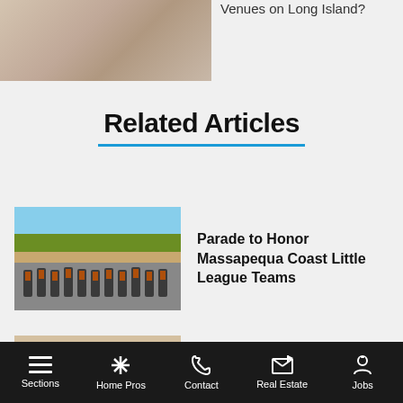[Figure (photo): Wedding flowers/hands photo partially visible at top left]
Venues on Long Island?
Related Articles
[Figure (photo): Baseball team group photo on a field, players in orange and black uniforms]
Parade to Honor Massapequa Coast Little League Teams
[Figure (photo): Group of people at an event with Zeldin sign visible]
Zeldin Nabs Support from
Sections  Home Pros  Contact  Real Estate  Jobs